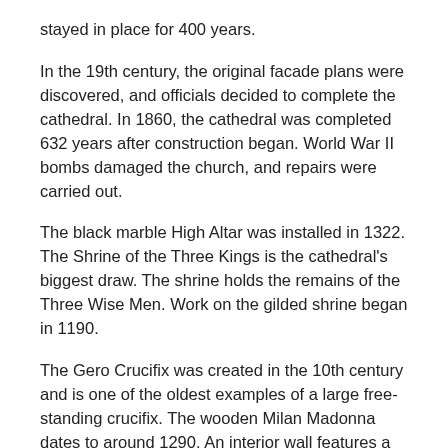stayed in place for 400 years.
In the 19th century, the original facade plans were discovered, and officials decided to complete the cathedral. In 1860, the cathedral was completed 632 years after construction began. World War II bombs damaged the church, and repairs were carried out.
The black marble High Altar was installed in 1322. The Shrine of the Three Kings is the cathedral's biggest draw. The shrine holds the remains of the Three Wise Men. Work on the gilded shrine began in 1190.
The Gero Crucifix was created in the 10th century and is one of the oldest examples of a large free-standing crucifix. The wooden Milan Madonna dates to around 1290. An interior wall features a pair of stone tablets from the 13th century, which legalized Cologne's Jewish residents. The choir has original carved stalls that date to the 14th century.